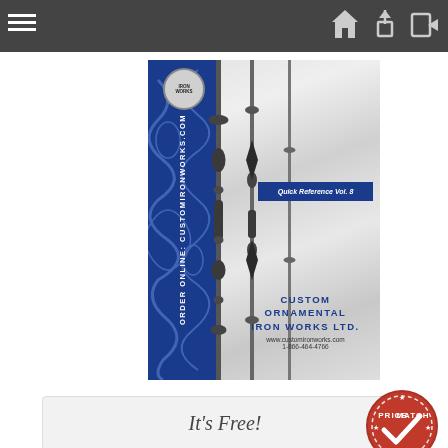Navigation bar with hamburger menu and icons
[Figure (photo): Custom Ornamental Iron Works Ltd. product catalog cover (Quick Reference Vol. 8). Blue decorative sidebar on the left with scrollwork pattern and 'ORDER ONLINE: CUSTOMIRONWORKS.COM' text vertically. Brushed silver/metal background on the right with iron balusters/spindles displayed. Company logo circle at top of blue sidebar. Blue badge reading 'Quick Reference Vol. 8'. Company name 'CUSTOM ORNAMENTAL IRON WORKS LTD.' with website www.customironworks.com and phone 1-866-464-4766.]
It's Free!
[Figure (logo): Price Match circular stamp/seal in orange/red with checkmark and stars]